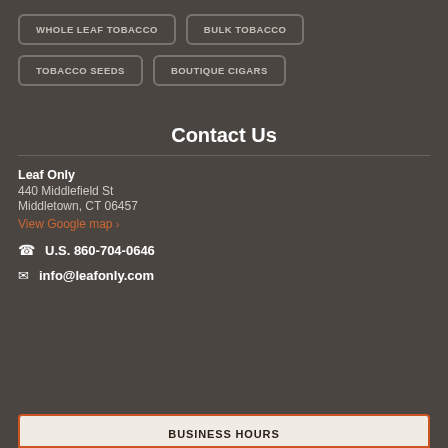WHOLE LEAF TOBACCO
BULK TOBACCO
TOBACCO SEEDS
BOUTIQUE CIGARS
Contact Us
Leaf Only
440 Middlefield St
Middletown, CT 06457
View Google map »
U.S. 860-704-0646
info@leafonly.com
BUSINESS HOURS